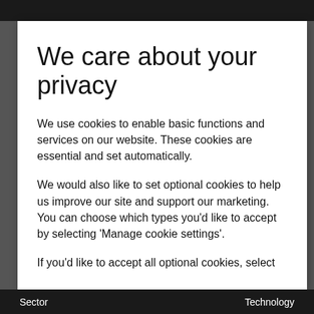We care about your privacy
We use cookies to enable basic functions and services on our website. These cookies are essential and set automatically.
We would also like to set optional cookies to help us improve our site and support our marketing. You can choose which types you'd like to accept by selecting 'Manage cookie settings'.
If you'd like to accept all optional cookies, select
Sector             Technology